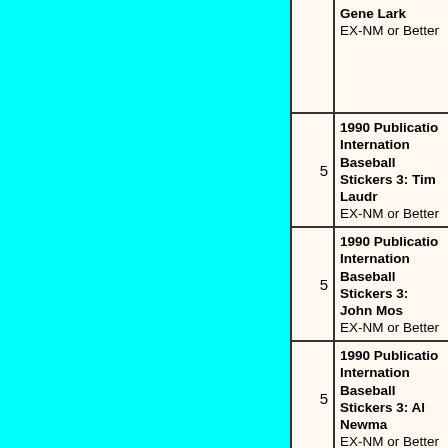| (image) | (qty) | Description |
| --- | --- | --- |
|  |  | Gene Lark EX-NM or Better |
|  | 5 | 1990 Publications International Baseball Stickers 3: Tim Laudr EX-NM or Better |
|  | 5 | 1990 Publications International Baseball Stickers 3: John Mos EX-NM or Better |
|  | 5 | 1990 Publications International Baseball Stickers 3: Al Newma EX-NM or Better |